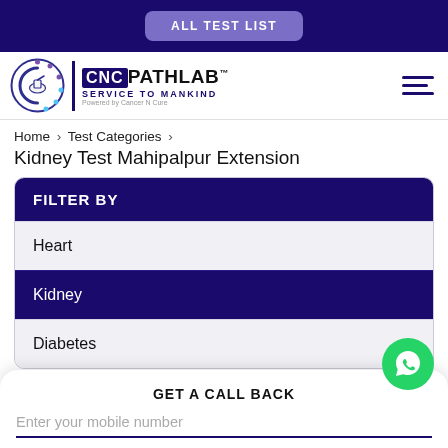ALL TEST LIST
[Figure (logo): CNC PATHLAB logo with circular icon, text CNC PATHLAB SERVICE TO MANKIND, Powered by Cancer N Cure]
Home > Test Categories > Kidney Test Mahipalpur Extension
Kidney Test Mahipalpur Extension
FILTER BY
Heart
Kidney
Diabetes
GET A CALL BACK
Enter your mobile number